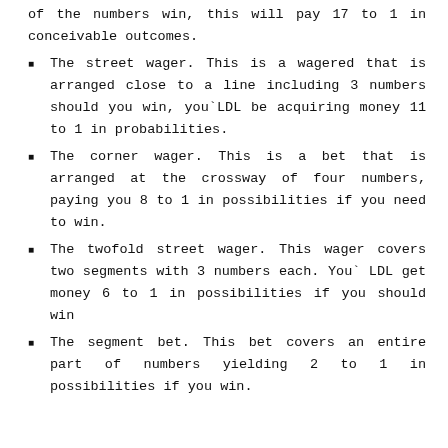of the numbers win, this will pay 17 to 1 in conceivable outcomes.
The street wager. This is a wagered that is arranged close to a line including 3 numbers should you win, you`LDL be acquiring money 11 to 1 in probabilities.
The corner wager. This is a bet that is arranged at the crossway of four numbers, paying you 8 to 1 in possibilities if you need to win.
The twofold street wager. This wager covers two segments with 3 numbers each. You` LDL get money 6 to 1 in possibilities if you should win
The segment bet. This bet covers an entire part of numbers yielding 2 to 1 in possibilities if you win.